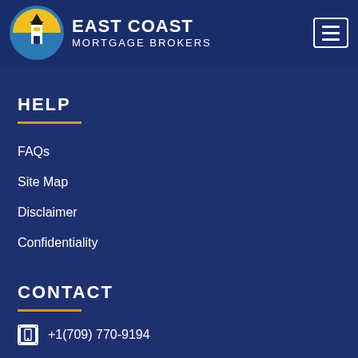[Figure (logo): East Coast Mortgage Brokers logo with lighthouse icon in circular blue/yellow design and company name text]
HELP
FAQs
Site Map
Disclaimer
Confidentiality
CONTACT
+1(709) 770-9194